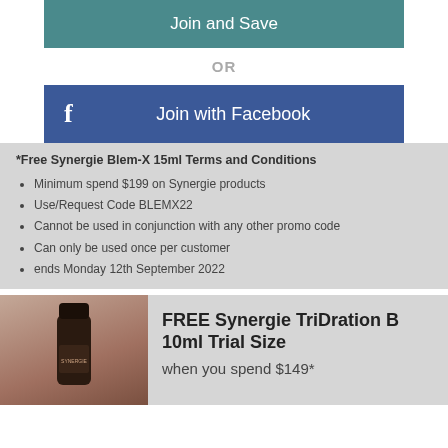Join and Save
OR
Join with Facebook
*Free Synergie Blem-X 15ml Terms and Conditions
Minimum spend $199 on Synergie products
Use/Request Code BLEMX22
Cannot be used in conjunction with any other promo code
Can only be used once per customer
ends Monday 12th September 2022
[Figure (photo): Synergie product bottle (dark cylindrical bottle)]
FREE Synergie TriDration B 10ml Trial Size
when you spend $149*